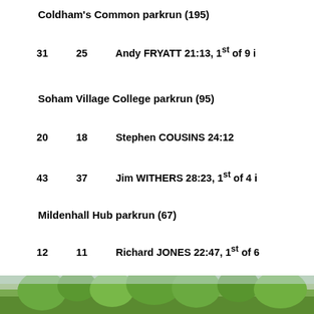Coldham's Common parkrun (195)
31    25    Andy FRYATT 21:13, 1st of 9 i
Soham Village College parkrun (95)
20    18    Stephen COUSINS 24:12
43    37    Jim WITHERS 28:23, 1st of 4 i
Mildenhall Hub parkrun (67)
12    11    Richard JONES 22:47, 1st of 6
47    28    Chris AYLMER 31:20
Storeys Field parkrun (226)
62    51    Chris HOWELL 23:06
Witney parkrun (203)
138    105    Wayne HARGREAVES 29:39
[Figure (photo): Outdoor photo showing trees with green foliage against sky]